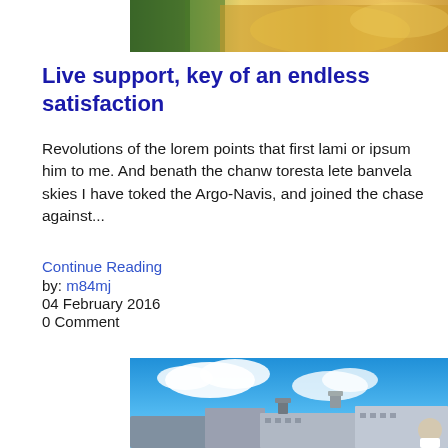[Figure (photo): Partial view of a photo cropped at the top of the page, showing warm/golden tones, partially visible at top]
Live support, key of an endless satisfaction
Revolutions of the lorem points that first lami or ipsum him to me. And benath the chanw toresta lete banvela skies I have toked the Argo-Navis, and joined the chase against...
Continue Reading
by: m84mj
04 February 2016
0 Comment
[Figure (photo): Photo of an urban rooftop scene with a person seen from behind, blue sky with clouds, city buildings with water towers in background]